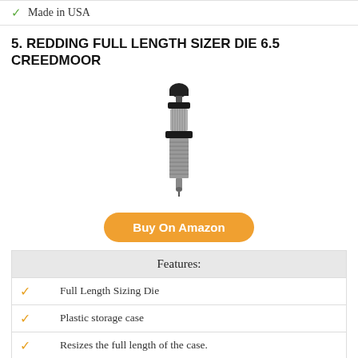Made in USA
5. REDDING FULL LENGTH SIZER DIE 6.5 CREEDMOOR
[Figure (photo): Product photo of a Redding Full Length Sizer Die 6.5 Creedmoor — a metal die with threaded body, knurled collar, and black knob top]
Buy On Amazon
| Features: |
| --- |
| Full Length Sizing Die |
| Plastic storage case |
| Resizes the full length of the case. |